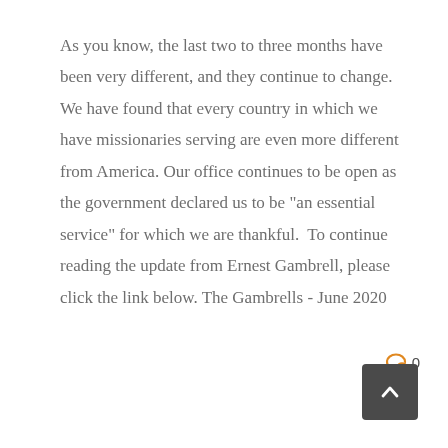As you know, the last two to three months have been very different, and they continue to change.  We have found that every country in which we have missionaries serving are even more different from America. Our office continues to be open as the government declared us to be "an essential service" for which we are thankful.  To continue reading the update from Ernest Gambrell, please click the link below. The Gambrells - June 2020